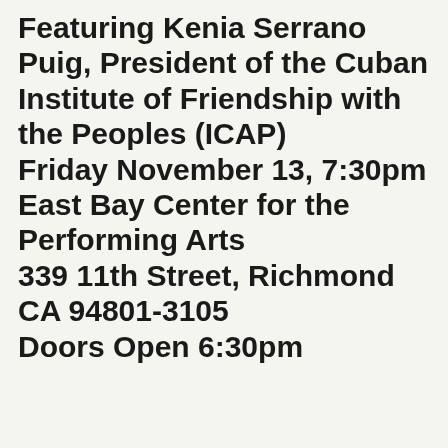Featuring Kenia Serrano Puig, President of the Cuban Institute of Friendship with the Peoples (ICAP) Friday November 13, 7:30pm East Bay Center for the Performing Arts 339 11th Street, Richmond CA 94801-3105 Doors Open 6:30pm